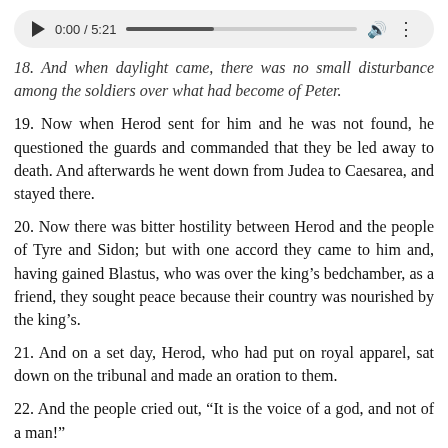[Figure (screenshot): Audio player widget showing play button, timestamp 0:00 / 5:21, progress bar, volume icon, and options icon on a rounded gray background]
18. And when daylight came, there was no small disturbance among the soldiers over what had become of Peter.
19. Now when Herod sent for him and he was not found, he questioned the guards and commanded that they be led away to death. And afterwards he went down from Judea to Caesarea, and stayed there.
20. Now there was bitter hostility between Herod and the people of Tyre and Sidon; but with one accord they came to him and, having gained Blastus, who was over the king’s bedchamber, as a friend, they sought peace because their country was nourished by the king’s.
21. And on a set day, Herod, who had put on royal apparel, sat down on the tribunal and made an oration to them.
22. And the people cried out, “It is the voice of a god, and not of a man!”
23. And immediately an angel of the Lord smote him because he did not give the glory to God; and he was eaten of worms, and died.